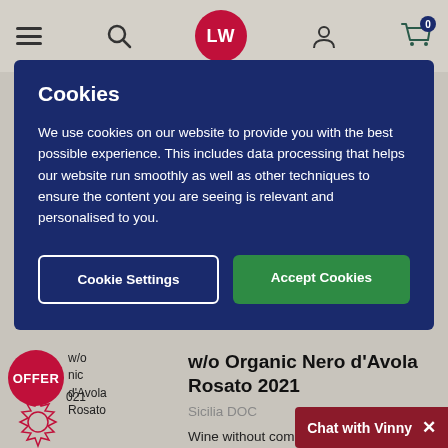[Figure (screenshot): Website header with hamburger menu, search icon, LW logo (red circle), user icon, and shopping cart with badge showing 0]
Cookies
We use cookies on our website to provide you with the best possible experience. This includes data processing that helps our website run smoothly as well as other techniques to ensure the content you are seeing is relevant and personalised to you.
Cookie Settings
Accept Cookies
w/o Organic Nero d'Avola Rosato 2021
Sicilia DOC
Wine without compromise from grape to glass, a delicious, new rosato, fruit
Chat with Vinny